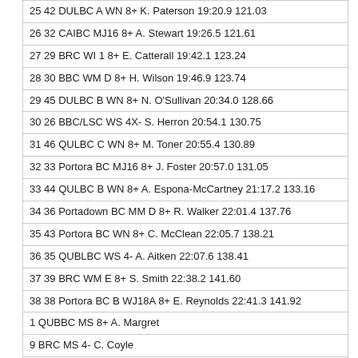| 25 42 DULBC A WN 8+ K. Paterson 19:20.9 121.03 |
| 26 32 CAIBC MJ16 8+ A. Stewart 19:26.5 121.61 |
| 27 29 BRC WI 1 8+ E. Catterall 19:42.1 123.24 |
| 28 30 BBC WM D 8+ H. Wilson 19:46.9 123.74 |
| 29 45 DULBC B WN 8+ N. O'Sullivan 20:34.0 128.66 |
| 30 26 BBC/LSC WS 4X- S. Herron 20:54.1 130.75 |
| 31 46 QULBC C WN 8+ M. Toner 20:55.4 130.89 |
| 32 33 Portora BC MJ16 8+ J. Foster 20:57.0 131.05 |
| 33 44 QULBC B WN 8+ A. Espona-McCartney 21:17.2 133.16 |
| 34 36 Portadown BC MM D 8+ R. Walker 22:01.4 137.76 |
| 35 43 Portora BC WN 8+ C. McClean 22:05.7 138.21 |
| 36 35 QUBLBC WS 4- A. Aitken 22:07.6 138.41 |
| 37 39 BRC WM E 8+ S. Smith 22:38.2 141.60 |
| 38 38 Portora BC B WJ18A 8+ E. Reynolds 22:41.3 141.92 |
| 1 QUBBC MS 8+ A. Margret |
| 9 BRC MS 4- C. Coyle |
| 16 QUBBC MI 1 4+ R. Crowley |